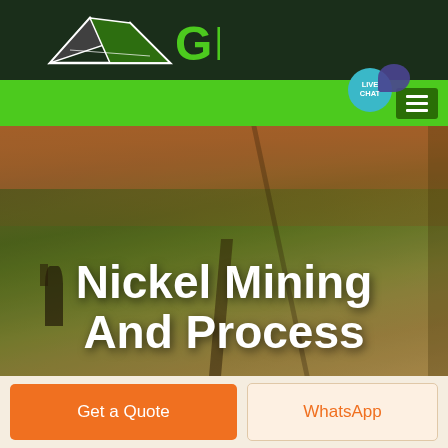[Figure (logo): GBM logo with mountain/arrow graphic and green GBM text on dark green header background]
[Figure (screenshot): Green navigation bar with hamburger menu icon on right and LIVE CHAT bubble overlay]
[Figure (photo): Aerial landscape photo showing rolling green/golden fields with trees, used as hero background]
Nickel Mining And Process
[Figure (infographic): Two buttons at bottom: orange 'Get a Quote' button and light 'WhatsApp' button]